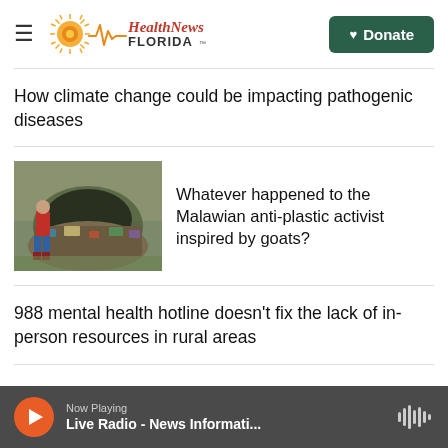Health News Florida — Donate
How climate change could be impacting pathogenic diseases
[Figure (photo): Woman in red plaid shirt standing next to a large pile of plastic waste and garbage under a bridge]
Whatever happened to the Malawian anti-plastic activist inspired by goats?
988 mental health hotline doesn't fix the lack of in-person resources in rural areas
Now Playing — Live Radio - News Informati...